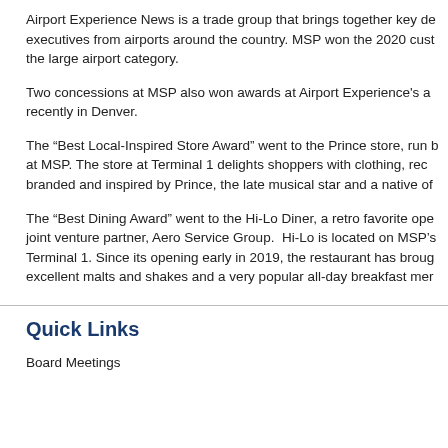Airport Experience News is a trade group that brings together key de executives from airports around the country. MSP won the 2020 cust the large airport category.
Two concessions at MSP also won awards at Airport Experience's a recently in Denver.
The “Best Local-Inspired Store Award” went to the Prince store, run b at MSP. The store at Terminal 1 delights shoppers with clothing, rec branded and inspired by Prince, the late musical star and a native of
The “Best Dining Award” went to the Hi-Lo Diner, a retro favorite ope joint venture partner, Aero Service Group. Hi-Lo is located on MSP’s Terminal 1. Since its opening early in 2019, the restaurant has broug excellent malts and shakes and a very popular all-day breakfast mer
Quick Links
Board Meetings